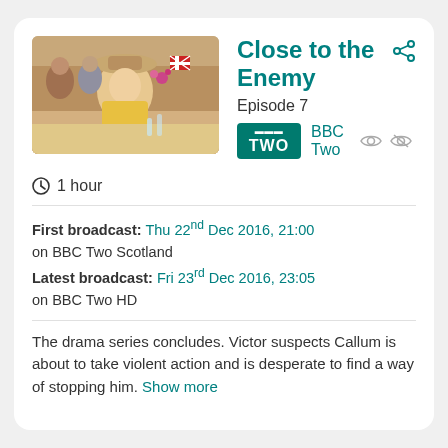[Figure (photo): Scene from Close to the Enemy TV show: a woman in period costume with a hat at a celebratory table with Union Jack flags]
Close to the Enemy
Episode 7
BBC Two
1 hour
First broadcast: Thu 22nd Dec 2016, 21:00 on BBC Two Scotland
Latest broadcast: Fri 23rd Dec 2016, 23:05 on BBC Two HD
The drama series concludes. Victor suspects Callum is about to take violent action and is desperate to find a way of stopping him. Show more